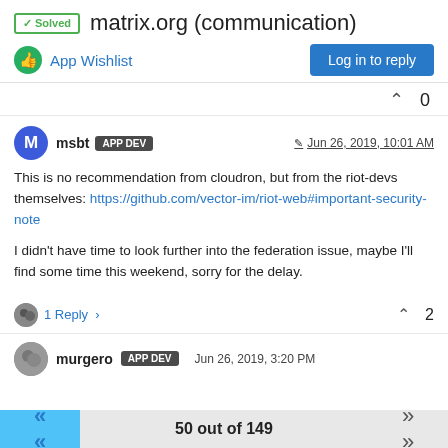✓ Solved   matrix.org (communication)
App Wishlist
Log in to reply
0
msbt  APP DEV   Jun 26, 2019, 10:01 AM
This is no recommendation from cloudron, but from the riot-devs themselves: https://github.com/vector-im/riot-web#important-security-note

I didn't have time to look further into the federation issue, maybe I'll find some time this weekend, sorry for the delay.
1 Reply >
2
murgero  APP DEV   Jun 26, 2019, 3:20 PM
50 out of 149